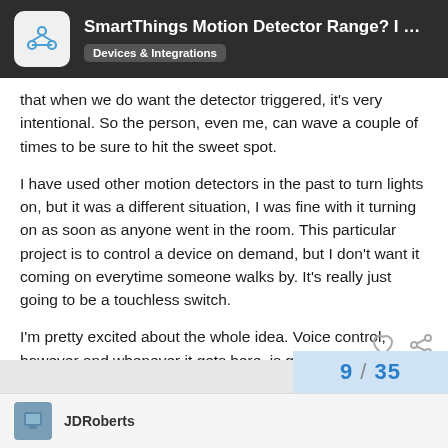SmartThings Motion Detector Range? I want... | Devices & Integrations
that when we do want the detector triggered, it's very intentional. So the person, even me, can wave a couple of times to be sure to hit the sweet spot.

I have used other motion detectors in the past to turn lights on, but it was a different situation, I was fine with it turning on as soon as anyone went in the room. This particular project is to control a device on demand, but I don't want it coming on everytime someone walks by. It's really just going to be a touchless switch.

I'm pretty excited about the whole idea. Voice control, however and whenever it gets here, is going to be great, but touchless silent control has its place too, especially when you have housemates. 😊
9 / 35 | JDRoberts